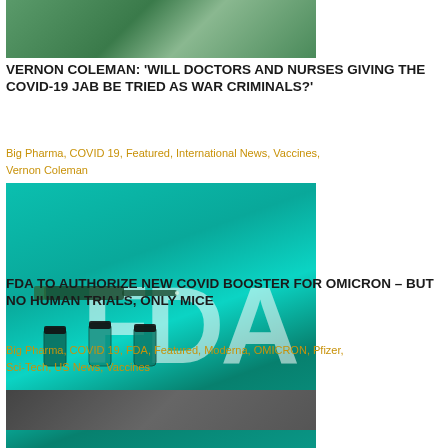[Figure (photo): Photo of person (partially cropped at top) in green clothing, top of page]
VERNON COLEMAN: 'WILL DOCTORS AND NURSES GIVING THE COVID-19 JAB BE TRIED AS WAR CRIMINALS?'
Big Pharma, COVID 19, Featured, International News, Vaccines, Vernon Coleman
[Figure (photo): Photo showing FDA logo on teal/green background with syringes and vaccine vials]
FDA TO AUTHORIZE NEW COVID BOOSTER FOR OMICRON – BUT NO HUMAN TRIALS, ONLY MICE
Big Pharma, COVID 19, FDA, Featured, Moderna, OMICRON, Pfizer, Sci-Tech, US News, Vaccines
[Figure (photo): Partially visible photo at bottom of page (cropped)]